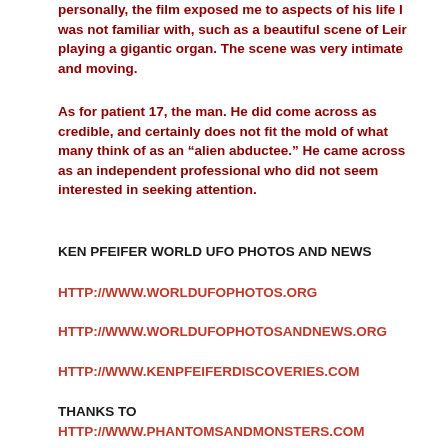personally, the film exposed me to aspects of his life I was not familiar with, such as a beautiful scene of Leir playing a gigantic organ. The scene was very intimate and moving.
As for patient 17, the man. He did come across as credible, and certainly does not fit the mold of what many think of as an “alien abductee.” He came across as an independent professional who did not seem interested in seeking attention.
KEN PFEIFER WORLD UFO PHOTOS AND NEWS
HTTP://WWW.WORLDUFOPHOTOS.ORG
HTTP://WWW.WORLDUFOPHOTOSANDNEWS.ORG
HTTP://WWW.KENPFEIFERDISCOVERIES.COM
THANKS TO
HTTP://WWW.PHANTOMSANDMONSTERS.COM